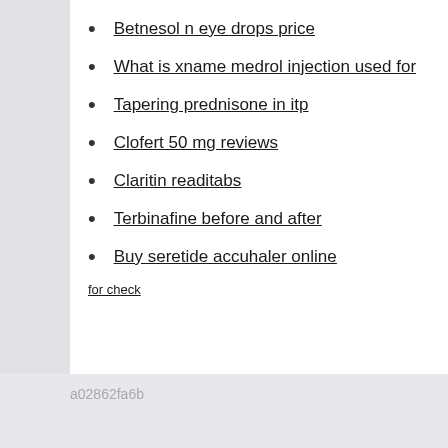Betnesol n eye drops price
What is xname medrol injection used for
Tapering prednisone in itp
Clofert 50 mg reviews
Claritin readitabs
Terbinafine before and after
Buy seretide accuhaler online
for check
a02862fa6b